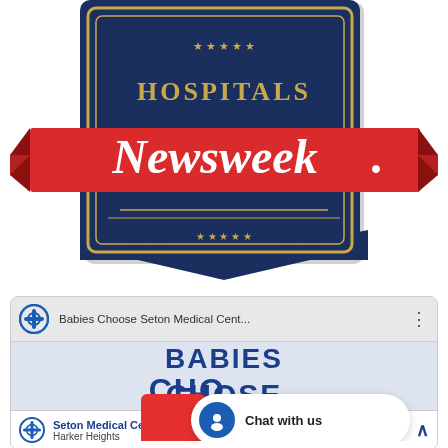[Figure (logo): Newsweek Best Hospitals 2021 award badge — dark navy blue shield/plaque shape with gold border, text 'HOSPITALS' and '2021' in gold serif lettering, overlaid with a large red ribbon banner displaying 'Newsweek' in bold white italic serif font]
[Figure (screenshot): Mobile browser screenshot showing a 'Babies Choose Seton Medical Center' page with blue cross icon, partial text 'BABIES CHOOSE' in large blue letters, a red popup square partially covering the text, a white chat bubble overlay with blue chat icon and text 'Chat with us', and a bottom bar with Seton Medical Center Harker Heights logo]